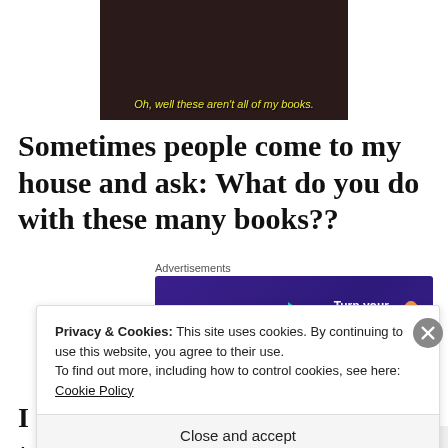[Figure (screenshot): Video screenshot with yellow italic subtitle text: Oh, well these aren't all of my books.]
Sometimes people come to my house and ask: What do you do with these many books??
[Figure (infographic): WooCommerce advertisement banner: Turn your hobby into a business in 8 steps]
Privacy & Cookies: This site uses cookies. By continuing to use this website, you agree to their use. To find out more, including how to control cookies, see here: Cookie Policy
Close and accept